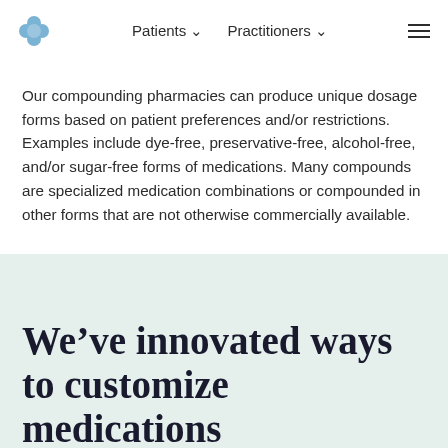Patients ▾  Practitioners ▾
Our compounding pharmacies can produce unique dosage forms based on patient preferences and/or restrictions. Examples include dye-free, preservative-free, alcohol-free, and/or sugar-free forms of medications. Many compounds are specialized medication combinations or compounded in other forms that are not otherwise commercially available.
We've innovated ways to customize medications